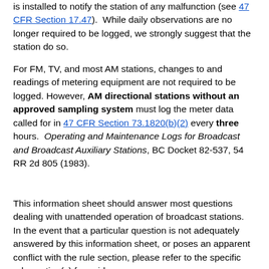is installed to notify the station of any malfunction (see 47 CFR Section 17.47). While daily observations are no longer required to be logged, we strongly suggest that the station do so.
For FM, TV, and most AM stations, changes to and readings of metering equipment are not required to be logged. However, AM directional stations without an approved sampling system must log the meter data called for in 47 CFR Section 73.1820(b)(2) every three hours. Operating and Maintenance Logs for Broadcast and Broadcast Auxiliary Stations, BC Docket 82-537, 54 RR 2d 805 (1983).
This information sheet should answer most questions dealing with unattended operation of broadcast stations. In the event that a particular question is not adequately answered by this information sheet, or poses an apparent conflict with the rule section, please refer to the specific rule section(s) for guidance.